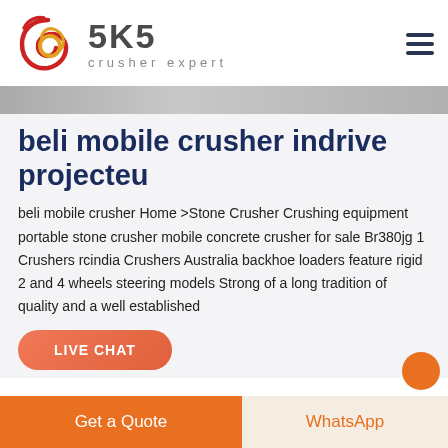[Figure (logo): SKS Crusher Expert logo with red swirl graphic and gray SKS text with 'crusher expert' subtitle]
beli mobile crusher indrive projecteu
beli mobile crusher Home >Stone Crusher Crushing equipment portable stone crusher mobile concrete crusher for sale Br380jg 1 Crushers rcindia Crushers Australia backhoe loaders feature rigid 2 and 4 wheels steering models Strong of a long tradition of quality and a well established
LIVE CHAT
Get a Quote
WhatsApp